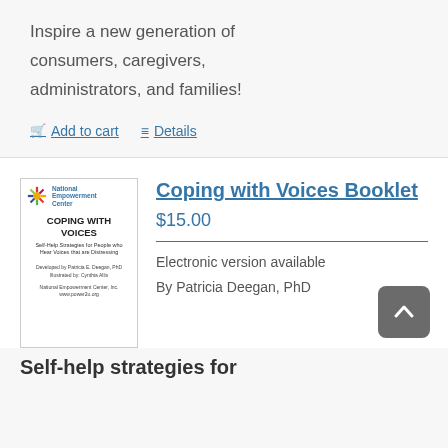Inspire a new generation of consumers, caregivers, administrators, and families!
Add to cart   Details
[Figure (illustration): Book cover for 'Coping with Voices' by National Empowerment Center, showing the title, subtitle 'Self-Help Strategies for People who Hear Voices that are Distressing', developed by Patricia E. Deegan, PhD, illustrated by Cynthia Allis.]
Coping with Voices Booklet
$15.00
Electronic version available
By Patricia Deegan, PhD
Self-help strategies for